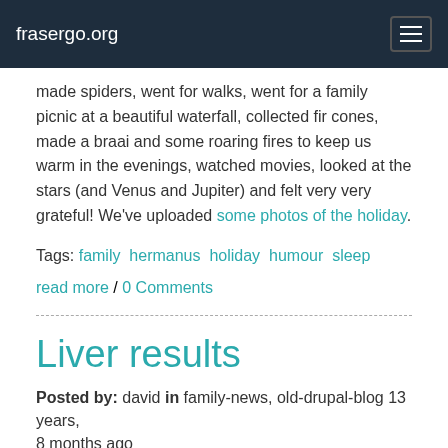frasergo.org
made spiders, went for walks, went for a family picnic at a beautiful waterfall, collected fir cones, made a braai and some roaring fires to keep us warm in the evenings, watched movies, looked at the stars (and Venus and Jupiter) and felt very very grateful! We've uploaded some photos of the holiday.
Tags: family hermanus holiday humour sleep
read more / 0 Comments
Liver results
Posted by: david in family-news, old-drupal-blog 13 years, 8 months ago
We went to see the gastro-enterologist today as planned to check out why James's liver enzyme levels were high. He said